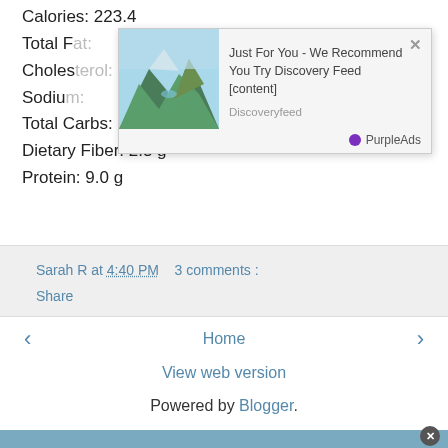Calories: 223.4
Total F[at — obscured]
Choles[terol — obscured]
Sodium — obscured]
Total Carbs: 30.1 g
Dietary Fiber: 2.3 g
Protein: 9.0 g
[Figure (screenshot): Advertisement overlay with mountain landscape image. Text reads: 'Just For You - We Recommend You Try Discovery Feed [content]' from 'Discoveryfeed'. Branded with PurpleAds logo. Has close X button.]
Sarah R at 4:40 PM   3 comments :
Share
Home
View web version
Powered by Blogger.